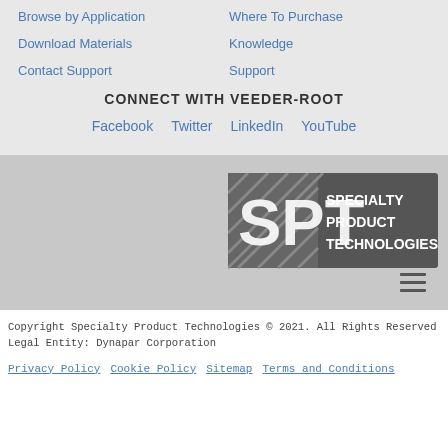Browse by Application
Where To Purchase
Download Materials
Knowledge
Contact Support
Support
CONNECT WITH VEEDER-ROOT
Facebook
Twitter
LinkedIn
YouTube
[Figure (logo): SPT Specialty Product Technologies logo on grey background with hamburger menu icon]
Copyright Specialty Product Technologies © 2021. All Rights Reserved
Legal Entity: Dynapar Corporation
Privacy Policy
Cookie Policy
Sitemap
Terms and Conditions